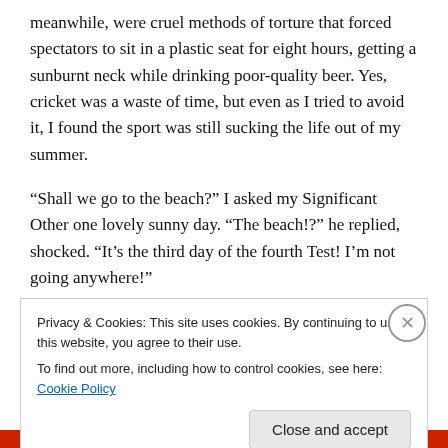meanwhile, were cruel methods of torture that forced spectators to sit in a plastic seat for eight hours, getting a sunburnt neck while drinking poor-quality beer. Yes, cricket was a waste of time, but even as I tried to avoid it, I found the sport was still sucking the life out of my summer.
“Shall we go to the beach?” I asked my Significant Other one lovely sunny day. “The beach!?” he replied, shocked. “It’s the third day of the fourth Test! I’m not going anywhere!”
“Shall we go see a movie?” I suggested one evening. He
Privacy & Cookies: This site uses cookies. By continuing to use this website, you agree to their use.
To find out more, including how to control cookies, see here: Cookie Policy